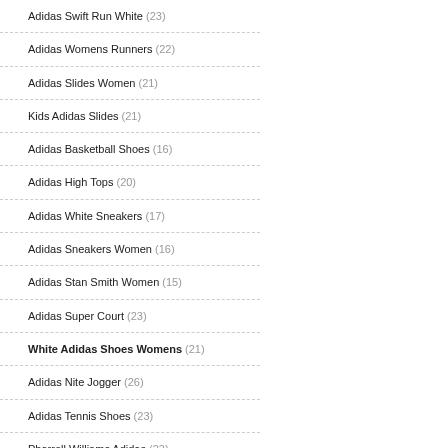Adidas Swift Run White (23)
Adidas Womens Runners (22)
Adidas Slides Women (21)
Kids Adidas Slides (21)
Adidas Basketball Shoes (16)
Adidas High Tops (20)
Adidas White Sneakers (17)
Adidas Sneakers Women (16)
Adidas Stan Smith Women (15)
Adidas Super Court (23)
White Adidas Shoes Womens (21)
Adidas Nite Jogger (26)
Adidas Tennis Shoes (23)
Pharrell Williams Adidas (23)
Terrex Adidas (22)
White Adidas (23)